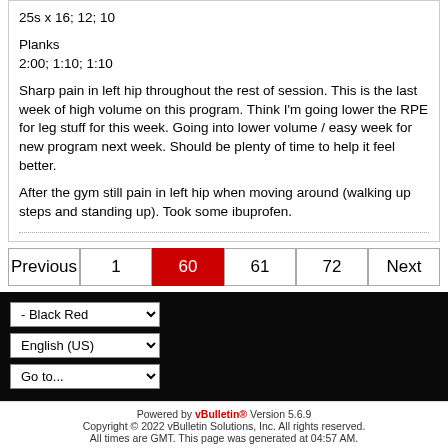25s x 16; 12; 10
Planks
2:00; 1:10; 1:10
Sharp pain in left hip throughout the rest of session. This is the last week of high volume on this program. Think I'm going lower the RPE for leg stuff for this week. Going into lower volume / easy week for new program next week. Should be plenty of time to help it feel better.
After the gym still pain in left hip when moving around (walking up steps and standing up). Took some ibuprofen.
Previous
1
60
61
72
Next
- Black Red | English (US) | Go to...
Powered by vBulletin® Version 5.6.9
Copyright © 2022 vBulletin Solutions, Inc. All rights reserved.
All times are GMT. This page was generated at 04:57 AM.